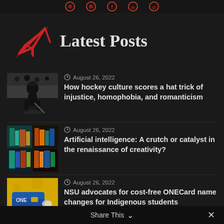Latest Posts
[Figure (illustration): Red paper plane / send icon]
August 26, 2022 — How hockey culture scores a hat trick of injustice, homophobia, and romanticism
August 26, 2022 — Artificial intelligence: A crutch or catalyst in the renaissance of creativity?
August 26, 2022 — NSU advocates for cost-free ONECard name changes for Indigenous students
Share This ∨  ✕